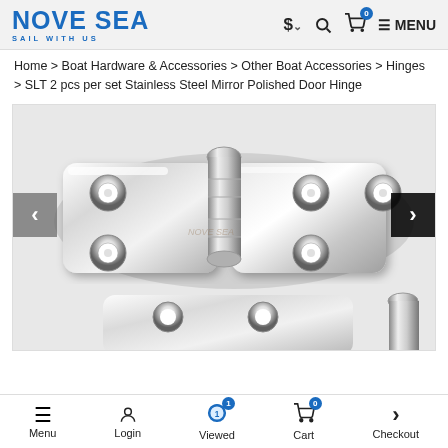NOVE SEA sail with us | $ | search | cart 0 | MENU
Home > Boat Hardware & Accessories > Other Boat Accessories > Hinges > SLT 2 pcs per set Stainless Steel Mirror Polished Door Hinge
[Figure (photo): Product photo of stainless steel mirror polished door hinges. Two hinges visible: one fully open showing both leaves with 3 screw holes on each side and a central barrel/knuckle, and a second hinge partially visible below. The hinges are bright mirror-polished stainless steel. Navigation arrows (< and >) are visible on left and right sides of the image.]
Menu | Login | Viewed 1 | Cart 0 | Checkout